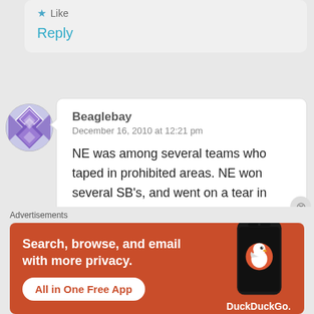★ Like
Reply
[Figure (illustration): User avatar: circular avatar with purple/blue diamond/cross pattern]
Beaglebay
December 16, 2010 at 12:21 pm
NE was among several teams who taped in prohibited areas. NE won several SB's, and went on a tear in multiple regular seasons. NE's excellence in the past decade shows
Advertisements
[Figure (screenshot): DuckDuckGo advertisement banner: orange background with text 'Search, browse, and email with more privacy. All in One Free App' and DuckDuckGo logo on a phone mockup]